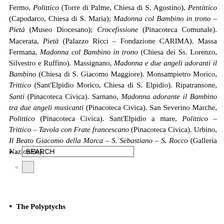Fermo, Polittico (Torre di Palme, Chiesa di S. Agostino), Pentittico (Capodarco, Chiesa di S. Maria); Madonna col Bambino in trono – Pietà (Museo Diocesano); Crocefissione (Pinacoteca Comunale). Macerata, Pietà (Palazzo Ricci – Fondazione CARIMA). Massa Fermana, Madonna col Bambino in trono (Chiesa dei Ss. Lorenzo, Silvestro e Ruffino). Massignano, Madonna e due angeli adoranti il Bambino (Chiesa di S. Giacomo Maggiore). Monsampietro Morico, Trittico (Sant'Elpidio Morico, Chiesa di S. Elpidio). Ripatransone, Santi (Pinacoteca Civica). Sarnano, Madonna adorante il Bambino tra due angeli musicanti (Pinacoteca Civica). San Severino Marche, Polittico (Pinacoteca Civica). Sant'Elpidio a mare, Polittico – Trittico – Tavola con Frate francescano (Pinacoteca Civica). Urbino, Il Beato Giacomo della Marca – S. Sebastiano – S. Rocco (Galleria Nazionale).
[Figure (screenshot): UI element with bullet point, open circle, SEARCH text input box, and a second open circle with a checkbox/button below it.]
The Polyptychs